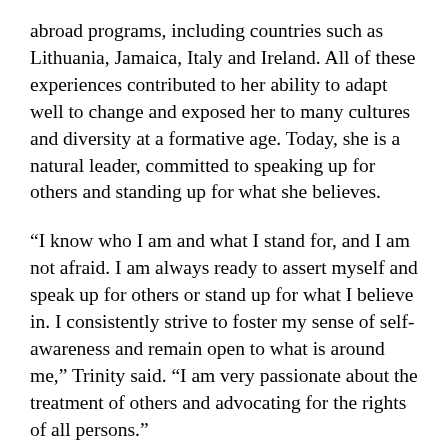abroad programs, including countries such as Lithuania, Jamaica, Italy and Ireland. All of these experiences contributed to her ability to adapt well to change and exposed her to many cultures and diversity at a formative age. Today, she is a natural leader, committed to speaking up for others and standing up for what she believes.
“I know who I am and what I stand for, and I am not afraid. I am always ready to assert myself and speak up for others or stand up for what I believe in. I consistently strive to foster my sense of self-awareness and remain open to what is around me,” Trinity said. “I am very passionate about the treatment of others and advocating for the rights of all persons.”
Trinity began her journey with Baylor Social Work as an undergrad in the fall of 2017. Coming to Baylor...